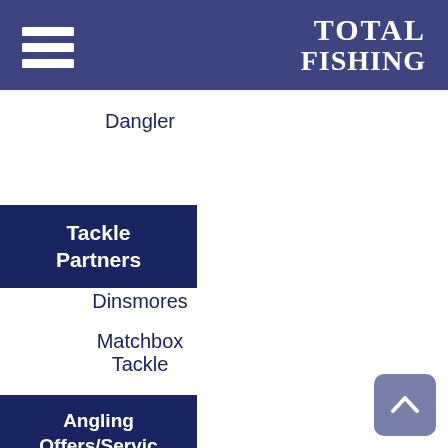TOTAL FISHING
Dangler
Tackle Partners
Dinsmores
Matchbox Tackle
Angling Offers/Services
Esselle
Pole Repairs